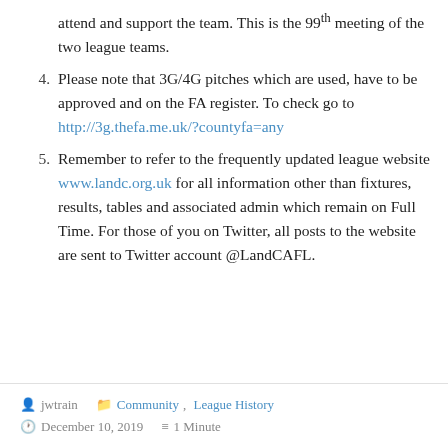attend and support the team. This is the 99th meeting of the two league teams.
4. Please note that 3G/4G pitches which are used, have to be approved and on the FA register. To check go to http://3g.thefa.me.uk/?countyfa=any
5. Remember to refer to the frequently updated league website www.landc.org.uk for all information other than fixtures, results, tables and associated admin which remain on Full Time. For those of you on Twitter, all posts to the website are sent to Twitter account @LandCAFL.
jwtrain   Community, League History   December 10, 2019   1 Minute